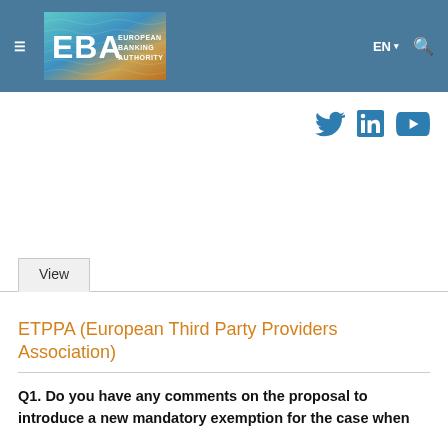EBA — European Banking Authority
[Figure (logo): EBA European Banking Authority logo with teal/gold gradient background]
[Figure (infographic): Social media icons: Twitter, LinkedIn, YouTube in blue]
View
ETPPA (European Third Party Providers Association)
Q1. Do you have any comments on the proposal to introduce a new mandatory exemption for the case when